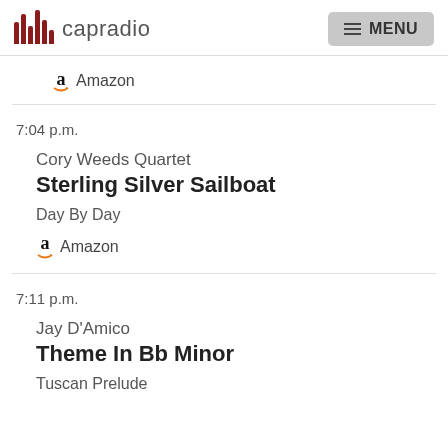capradio  MENU
Amazon
7:04 p.m.
Cory Weeds Quartet
Sterling Silver Sailboat
Day By Day
Amazon
7:11 p.m.
Jay D'Amico
Theme In Bb Minor
Tuscan Prelude